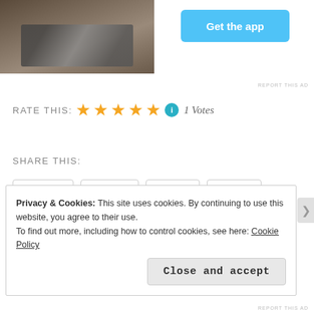[Figure (photo): Partial photo of a person outdoors, cropped at top of page]
[Figure (other): Get the app button - blue rounded rectangle]
REPORT THIS AD
RATE THIS: ★★★★★ ℹ 1 Votes
SHARE THIS:
Tumblr  Email  Print  More
Loading...
Privacy & Cookies: This site uses cookies. By continuing to use this website, you agree to their use.
To find out more, including how to control cookies, see here: Cookie Policy
Close and accept
REPORT THIS AD